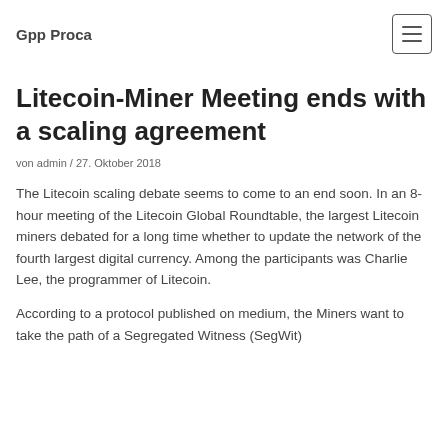Gpp Proca
Litecoin-Miner Meeting ends with a scaling agreement
von admin / 27. Oktober 2018
The Litecoin scaling debate seems to come to an end soon. In an 8-hour meeting of the Litecoin Global Roundtable, the largest Litecoin miners debated for a long time whether to update the network of the fourth largest digital currency. Among the participants was Charlie Lee, the programmer of Litecoin.
According to a protocol published on medium, the Miners want to take the path of a Segregated Witness (SegWit)...